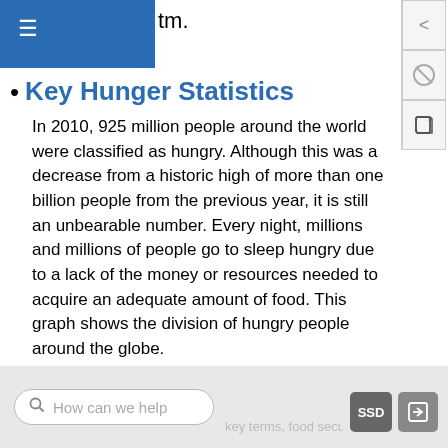tm.
Key Hunger Statistics
In 2010, 925 million people around the world were classified as hungry. Although this was a decrease from a historic high of more than one billion people from the previous year, it is still an unbearable number. Every night, millions and millions of people go to sleep hungry due to a lack of the money or resources needed to acquire an adequate amount of food. This graph shows the division of hungry people around the globe.
Key Hunger Terms
How can we help